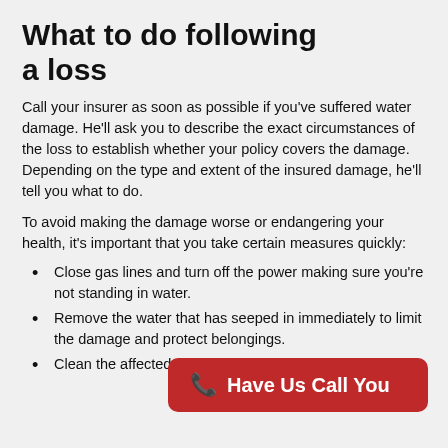What to do following a loss
Call your insurer as soon as possible if you've suffered water damage. He'll ask you to describe the exact circumstances of the loss to establish whether your policy covers the damage. Depending on the type and extent of the insured damage, he'll tell you what to do.
To avoid making the damage worse or endangering your health, it’s important that you take certain measures quickly:
Close gas lines and turn off the power making sure you’re not standing in water.
Remove the water that has seeped in immediately to limit the damage and protect belongings.
Clean the affected area exposed to water